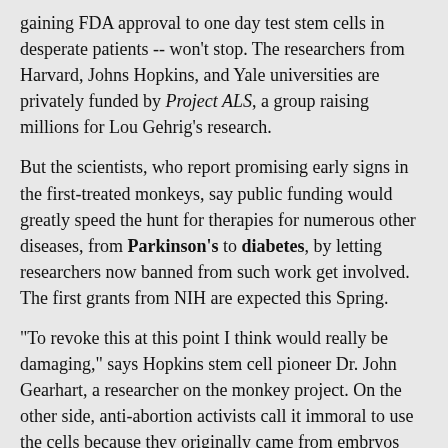gaining FDA approval to one day test stem cells in desperate patients -- won't stop. The researchers from Harvard, Johns Hopkins, and Yale universities are privately funded by Project ALS, a group raising millions for Lou Gehrig's research.
But the scientists, who report promising early signs in the first-treated monkeys, say public funding would greatly speed the hunt for therapies for numerous other diseases, from Parkinson's to diabetes, by letting researchers now banned from such work get involved. The first grants from NIH are expected this Spring.
"To revoke this at this point I think would really be damaging," says Hopkins stem cell pioneer Dr. John Gearhart, a researcher on the monkey project. On the other side, anti-abortion activists call it immoral to use the cells because they originally came from embryos discarded by fertility clinics or from aborted fetuses. Even Pope John Paul II condemned such research last Summer.
Congress bans Federally-funded research that destroys human embryos. President Bush has agreed. Taking stem cells from embryos, done when the embryos are the size of a "period" at the end of a sentence, does destroy them.
The critical distinction -- Privately funded researchers already have culled embryonic cells and then replicated them in vitro to create "cell-line cultures." The NIH plans to fund only research using